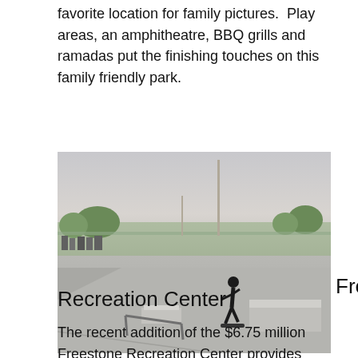favorite location for family pictures.  Play areas, an amphitheatre, BBQ grills and ramadas put the finishing touches on this family friendly park.
[Figure (photo): Outdoor skate park with a skateboarder in black clothing performing a trick. Concrete ramps and rails visible, with fencing and trees in the background under an evening sky.]
Freestone Recreation Center
The recent addition of the $6.75 million Freestone Recreation Center provides 51,000 sq.ft. of family focused, fun indoor recreation. Within the center is a